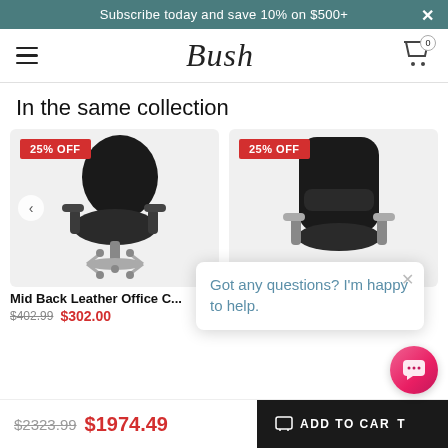Subscribe today and save 10% on $500+
[Figure (logo): Bush furniture logo and navigation bar with hamburger menu and cart icon]
In the same collection
[Figure (photo): Mid Back Leather Office Chair product card with 25% OFF badge]
[Figure (photo): High Back Leather Executive Chair product card with 25% OFF badge]
Mid Back Leather Office C...
$402.99  $302.00
High Back Leather Executi...
$301.99  $226.00
Got any questions? I'm happy to help.
$2323.99  $1974.49
ADD TO CART